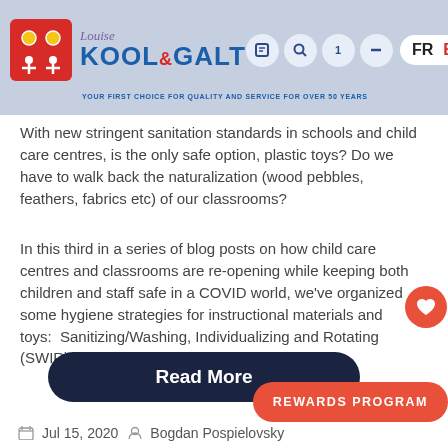Louise Kool & Galt — YOUR FIRST CHOICE FOR QUALITY AND SERVICE FOR OVER 50 YEARS
With new stringent sanitation standards in schools and child care centres, is the only safe option, plastic toys? Do we have to walk back the naturalization (wood pebbles, feathers, fabrics etc) of our classrooms?
In this third in a series of blog posts on how child care centres and classrooms are re-opening while keeping both children and staff safe in a COVID world, we've organized some hygiene strategies for instructional materials and toys: Sanitizing/Washing, Individualizing and Rotating (SWIR).
Read More
REWARDS PROGRAM
Jul 15, 2020  Bogdan Pospielovsky